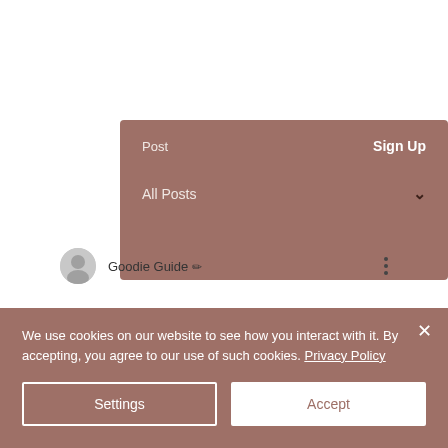Post    Sign Up
All Posts  ˅
Goodie Guide ✒
Cozy and Warm Gift
We use cookies on our website to see how you interact with it. By accepting, you agree to our use of such cookies. Privacy Policy
Settings    Accept